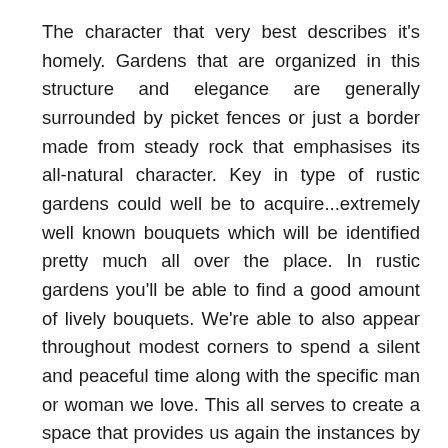The character that very best describes it's homely. Gardens that are organized in this structure and elegance are generally surrounded by picket fences or just a border made from steady rock that emphasises its all-natural character. Key in type of rustic gardens could well be to acquire...extremely well known bouquets which will be identified pretty much all over the place. In rustic gardens you'll be able to find a good amount of lively bouquets. We're able to also appear throughout modest corners to spend a silent and peaceful time along with the specific man or woman we love. This all serves to create a space that provides us again the instances by which anything was a lot more easy and normal. It certainly is benefit constructing an area similar to this inside our environment to verify that we can effortlessly invest enjoyable occasions there.